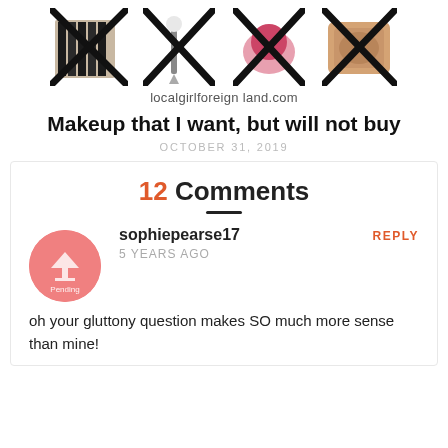[Figure (photo): Four product thumbnail images each crossed out with a black X mark, showing makeup brushes, eyeliner brush, lip product, and bronzer/highlighter compact. Below images is the website URL: localgirlforeign land.com]
Makeup that I want, but will not buy
OCTOBER 31, 2019
12 Comments
sophiepearse17
5 YEARS AGO
oh your gluttony question makes SO much more sense than mine!